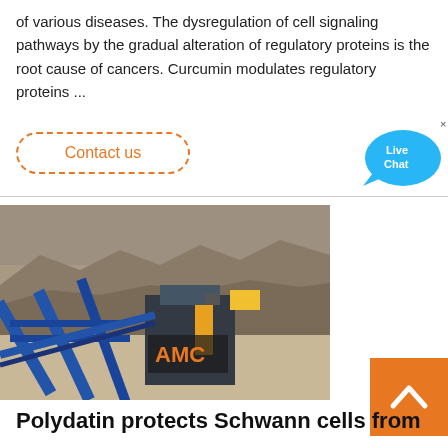of various diseases. The dysregulation of cell signaling pathways by the gradual alteration of regulatory proteins is the root cause of cancers. Curcumin modulates regulatory proteins ...
Contact us
[Figure (photo): Industrial mining/crushing equipment with blue metal structures and conveyor belts in front of a rocky quarry hillside. AMC logo visible on machinery.]
Polydatin protects Schwann cells from